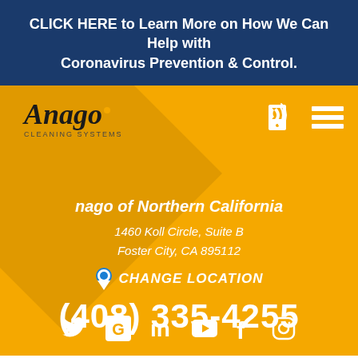CLICK HERE to Learn More on How We Can Help with Coronavirus Prevention & Control.
[Figure (logo): Anago Cleaning Systems logo with italic serif text and small gold dot, on yellow diamond background]
Anago of Northern California
1460 Koll Circle, Suite B
Foster City, CA 895112
CHANGE LOCATION
(408) 335-4255
Social media icons: Twitter, Google, LinkedIn, YouTube, Facebook, Instagram